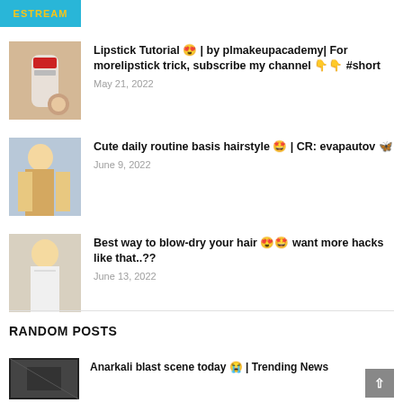[Figure (logo): ESTREAM logo in yellow text on cyan/teal background]
Lipstick Tutorial 😍 | by plmakeupacademy| For morelipstick trick, subscribe my channel 👇👇 #short
May 21, 2022
Cute daily routine basis hairstyle 🤩 | CR: evapautov 🦋
June 9, 2022
Best way to blow-dry your hair 😍🤩 want more hacks like that..??
June 13, 2022
RANDOM POSTS
Anarkali blast scene today 😭 | Trending News